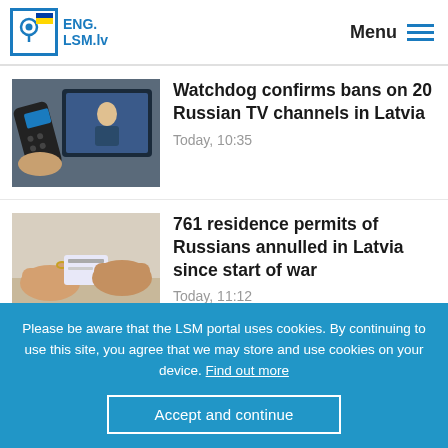ENG. LSM.lv — Menu
[Figure (photo): Hand holding a TV remote control pointing at a television screen showing a news broadcast]
Watchdog confirms bans on 20 Russian TV channels in Latvia
Today, 10:35
[Figure (photo): Hands exchanging or inspecting a small card or document]
761 residence permits of Russians annulled in Latvia since start of war
Today, 11:12
[Figure (photo): Passports and ID cards on a surface]
Expired passports and IDs will be valid until April in Latvia
Please be aware that the LSM portal uses cookies. By continuing to use this site, you agree that we may store and use cookies on your device. Find out more
Accept and continue